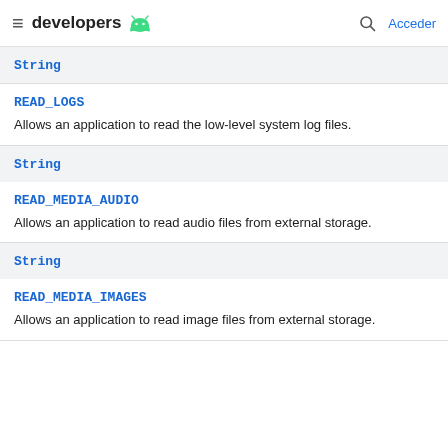developers [android logo] | search | Acceder
String
READ_LOGS
Allows an application to read the low-level system log files.
String
READ_MEDIA_AUDIO
Allows an application to read audio files from external storage.
String
READ_MEDIA_IMAGES
Allows an application to read image files from external storage.